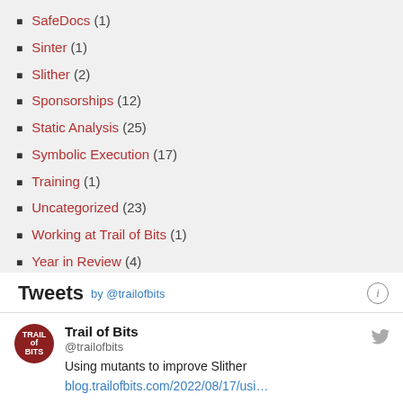SafeDocs (1)
Sinter (1)
Slither (2)
Sponsorships (12)
Static Analysis (25)
Symbolic Execution (17)
Training (1)
Uncategorized (23)
Working at Trail of Bits (1)
Year in Review (4)
Zero Knowledge (1)
Tweets by @trailofbits
Trail of Bits @trailofbits Using mutants to improve Slither blog.trailofbits.com/2022/08/17/usi…